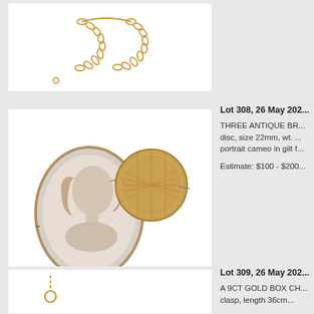[Figure (photo): Top portion of a gold chain necklace on white background]
[Figure (photo): Three antique brooches: a portrait cameo in oval gilt frame, a round woven gold disc brooch, and a small bar brooch with amber stone]
Lot 308, 26 May 202...
THREE ANTIQUE BR... disc, size 22mm, wt. ... portrait cameo in gilt f...
Estimate: $100 - $200
[Figure (photo): Partial view of Lot 309 gold box chain]
Lot 309, 26 May 202...
A 9CT GOLD BOX CH... clasp, length 36cm...